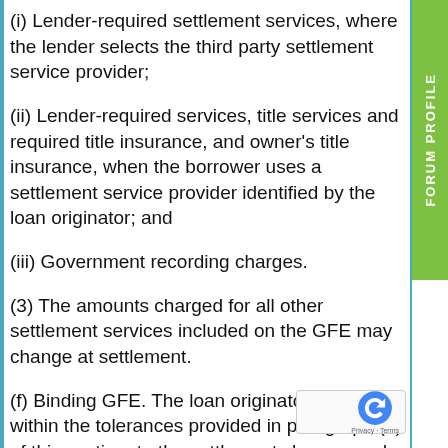(i) Lender-required settlement services, where the lender selects the third party settlement service provider;
(ii) Lender-required services, title services and required title insurance, and owner's title insurance, when the borrower uses a settlement service provider identified by the loan originator; and
(iii) Government recording charges.
(3) The amounts charged for all other settlement services included on the GFE may change at settlement.
(f) Binding GFE. The loan originator is bound, within the tolerances provided in paragraph (e) of this section, to the settlement charges and terms listed on the GFE provided to the borrower, unless